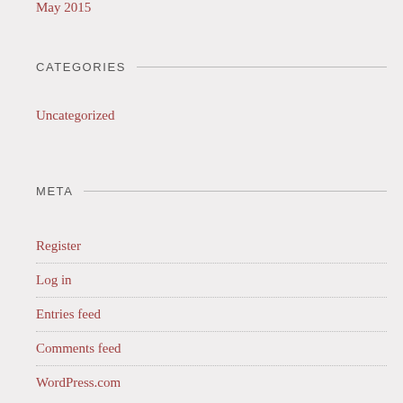May 2015
CATEGORIES
Uncategorized
META
Register
Log in
Entries feed
Comments feed
WordPress.com